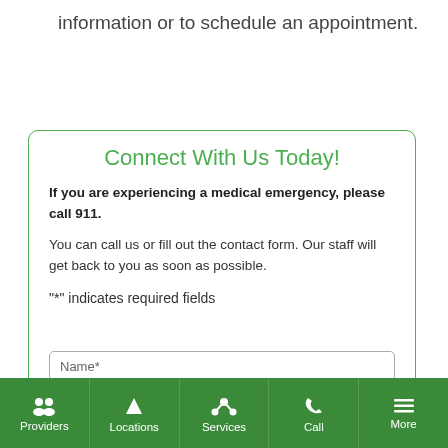information or to schedule an appointment.
Connect With Us Today!
If you are experiencing a medical emergency, please call 911.
You can call us or fill out the contact form. Our staff will get back to you as soon as possible.
"*" indicates required fields
Name*
Providers  Locations  Services  Call  More